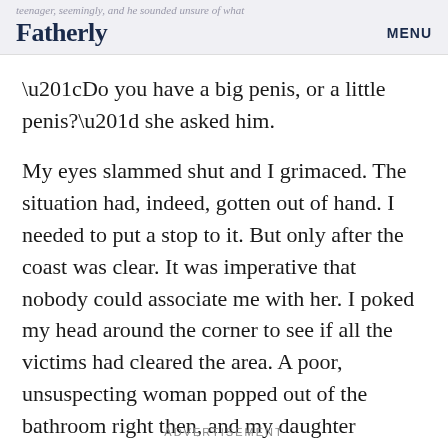teenager, seemingly, and he sounded unsure of what
Fatherly
“Do you have a big penis, or a little penis?” she asked him.
My eyes slammed shut and I grimaced. The situation had, indeed, gotten out of hand. I needed to put a stop to it. But only after the coast was clear. It was imperative that nobody could associate me with her. I poked my head around the corner to see if all the victims had cleared the area. A poor, unsuspecting woman popped out of the bathroom right then, and my daughter instantly locked on.
ADVERTISEMENT